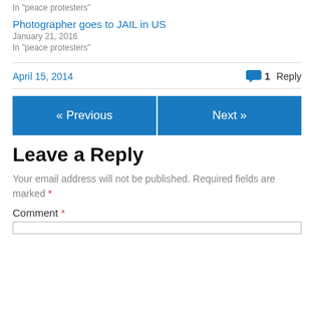In "peace protesters"
Photographer goes to JAIL in US
January 21, 2016
In "peace protesters"
April 15, 2014    1 Reply
Leave a Reply
Your email address will not be published. Required fields are marked *
Comment *